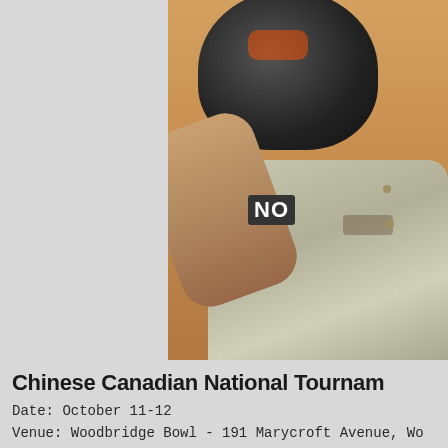[Figure (photo): Person wearing a dark helmet/bowling ball on their head, dressed in a grey polo shirt, with arm raised. Warm orange/tan background behind them. A sign partially visible reads 'NO'.]
Chinese Canadian National Tournam
Date: October 11-12
Venue: Woodbridge Bowl - 191 Marycroft Avenue, Wo